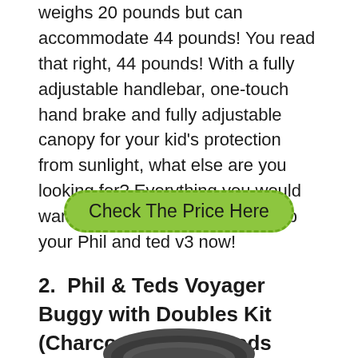weighs 20 pounds but can accommodate 44 pounds! You read that right, 44 pounds! With a fully adjustable handlebar, one-touch hand brake and fully adjustable canopy for your kid's protection from sunlight, what else are you looking for? Everything you would want in your stroller is here! Grab your Phil and ted v3 now!
Check The Price Here
2.  Phil & Teds Voyager Buggy with Doubles Kit (Charcoal) by phil&teds
[Figure (photo): Product photo of a stroller/buggy in charcoal color, partially visible at the bottom of the page]